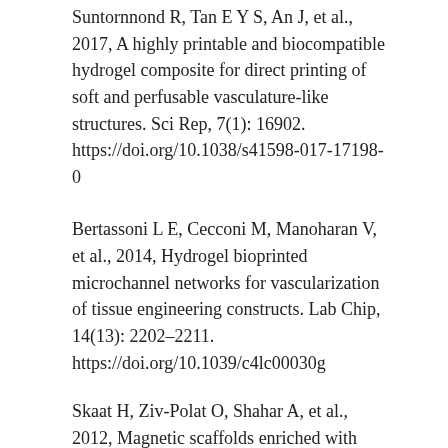Suntornnond R, Tan E Y S, An J, et al., 2017, A highly printable and biocompatible hydrogel composite for direct printing of soft and perfusable vasculature-like structures. Sci Rep, 7(1): 16902. https://doi.org/10.1038/s41598-017-17198-0
Bertassoni L E, Cecconi M, Manoharan V, et al., 2014, Hydrogel bioprinted microchannel networks for vascularization of tissue engineering constructs. Lab Chip, 14(13): 2202–2211. https://doi.org/10.1039/c4lc00030g
Skaat H, Ziv-Polat O, Shahar A, et al., 2012, Magnetic scaffolds enriched with bioactive nanoparticles for tissue engineering. Adv Healthc Mater, 1(2):